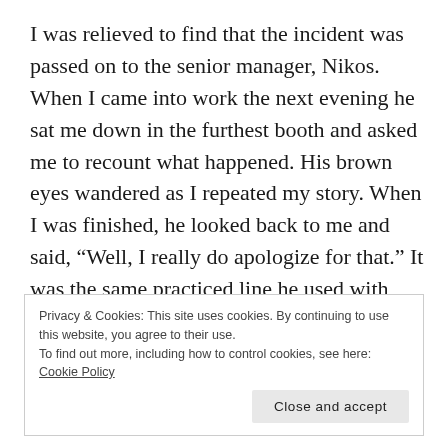I was relieved to find that the incident was passed on to the senior manager, Nikos. When I came into work the next evening he sat me down in the furthest booth and asked me to recount what happened. His brown eyes wandered as I repeated my story. When I was finished, he looked back to me and said, “Well, I really do apologize for that.” It was the same practiced line he used with unhappy customers. Still, I was grateful for the acknowledgement.
Privacy & Cookies: This site uses cookies. By continuing to use this website, you agree to their use.
To find out more, including how to control cookies, see here: Cookie Policy